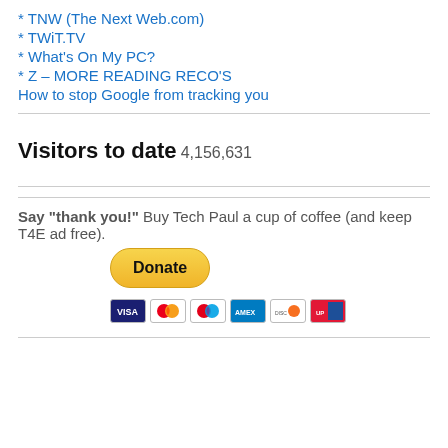* TNW (The Next Web.com)
* TWiT.TV
* What's On My PC?
* Z – MORE READING RECO'S
How to stop Google from tracking you
Visitors to date
4,156,631
Say "thank you!" Buy Tech Paul a cup of coffee (and keep T4E ad free).
[Figure (other): PayPal Donate button with credit card icons (Visa, Mastercard, Maestro, Amex, Discover, UnionPay)]